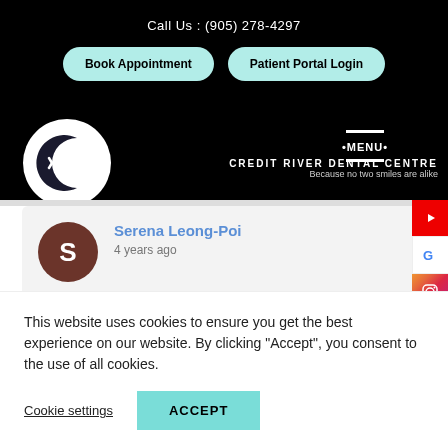Call Us : (905) 278-4297
Book Appointment
Patient Portal Login
[Figure (logo): Snowflake and moon logo for Credit River Dental Centre]
•MENU•
CREDIT RIVER DENTAL CENTRE
Because no two smiles are alike
Serena Leong-Poi
4 years ago
[Figure (other): Social media sidebar icons: YouTube, Google, Instagram, Email]
This website uses cookies to ensure you get the best experience on our website. By clicking "Accept", you consent to the use of all cookies.
Cookie settings
ACCEPT